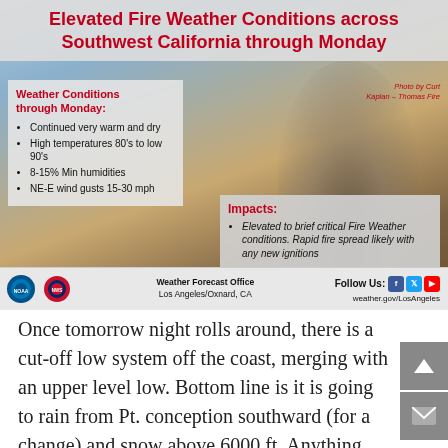[Figure (infographic): Fire weather infographic showing elevated fire weather conditions across Southwest California through Monday. Contains a background photo of wildfire smoke over mountains, a weather conditions box listing: Continued very warm and dry, High temperatures 80s to low 90s, 8-15% Min humidities, NE-E wind gusts 15-30 mph. An Impacts box listing: Elevated to brief critical Fire Weather conditions. Rapid fire spread likely with any new ignitions. Footer with NOAA/NWS logos, Weather Forecast Office Los Angeles/Oxnard CA, and social media links.]
Elevated Fire Weather Conditions across Southwest California through Monday
Once tomorrow night rolls around, there is a cut-off low system off the coast, merging with an upper level low. Bottom line is it is going to rain from Pt. conception southward (for a change) and snow above 6000 ft. Anything